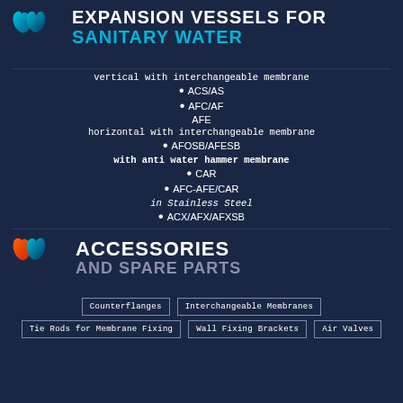EXPANSION VESSELS FOR SANITARY WATER
vertical with interchangeable membrane
ACS/AS
AFC/AF
AFE
horizontal with interchangeable membrane
AFOSB/AFESB
with anti water hammer membrane
CAR
AFC-AFE/CAR
in Stainless Steel
ACX/AFX/AFXSB
ACCESSORIES AND SPARE PARTS
Counterflanges
Interchangeable Membranes
Tie Rods for Membrane Fixing
Wall Fixing Brackets
Air Valves